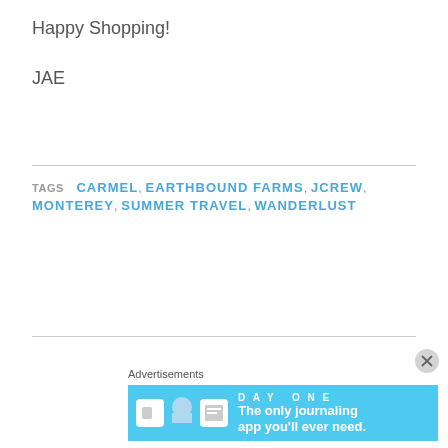Happy Shopping!
JAE
TAGS  CARMEL, EARTHBOUND FARMS, JCREW, MONTEREY, SUMMER TRAVEL, WANDERLUST
Advertisements
[Figure (illustration): DAY ONE app advertisement banner with blue background, app icons, and tagline 'The only journaling app you'll ever need.']